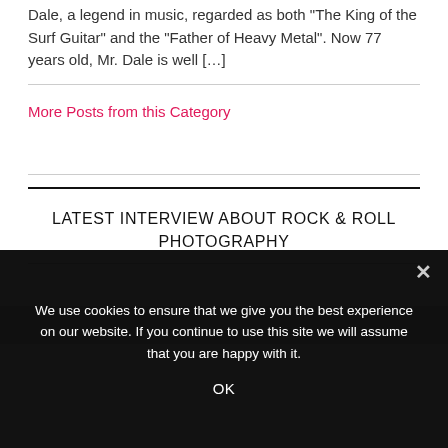Dale, a legend in music, regarded as both "The King of the Surf Guitar" and the "Father of Heavy Metal". Now 77 years old, Mr. Dale is well […]
More Posts from this Category
LATEST INTERVIEW ABOUT ROCK & ROLL PHOTOGRAPHY
We use cookies to ensure that we give you the best experience on our website. If you continue to use this site we will assume that you are happy with it.
OK